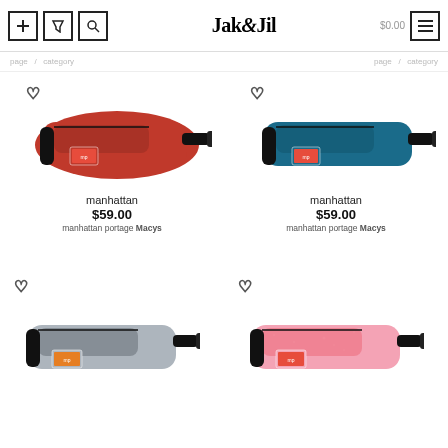Jak&Jil — navigation header with filter, sort, search icons and hamburger menu
breadcrumb navigation bar — partial text visible
[Figure (photo): Red manhattan portage fanny pack / waist bag with black strap and red branded patch]
manhattan
$59.00
manhattan portage Macys
[Figure (photo): Blue/teal manhattan portage fanny pack / waist bag with black strap and red branded patch]
manhattan
$59.00
manhattan portage Macys
[Figure (photo): Grey/silver manhattan portage fanny pack / waist bag with black strap and orange branded patch]
[Figure (photo): Pink glitter manhattan portage fanny pack / waist bag with black strap and red branded patch]